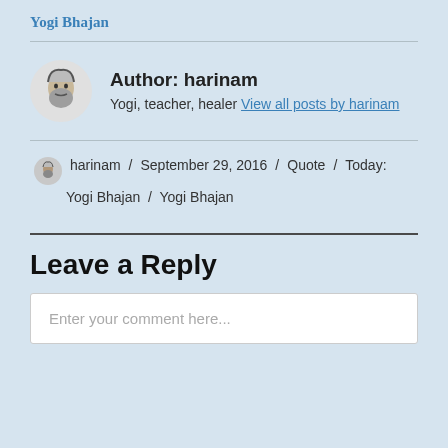Yogi Bhajan
Author: harinam
Yogi, teacher, healer View all posts by harinam
harinam / September 29, 2016 / Quote / Today: Yogi Bhajan / Yogi Bhajan
Leave a Reply
Enter your comment here...